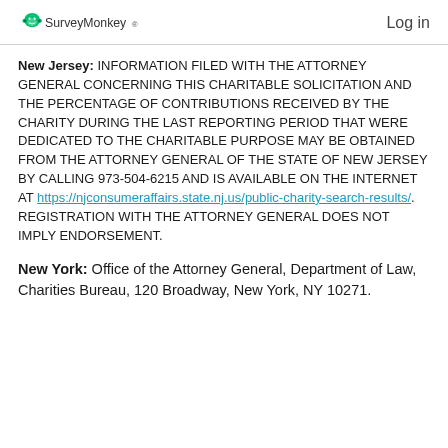SurveyMonkey  Log in
New Jersey: INFORMATION FILED WITH THE ATTORNEY GENERAL CONCERNING THIS CHARITABLE SOLICITATION AND THE PERCENTAGE OF CONTRIBUTIONS RECEIVED BY THE CHARITY DURING THE LAST REPORTING PERIOD THAT WERE DEDICATED TO THE CHARITABLE PURPOSE MAY BE OBTAINED FROM THE ATTORNEY GENERAL OF THE STATE OF NEW JERSEY BY CALLING 973-504-6215 AND IS AVAILABLE ON THE INTERNET AT https://njconsumeraffairs.state.nj.us/public-charity-search-results/. REGISTRATION WITH THE ATTORNEY GENERAL DOES NOT IMPLY ENDORSEMENT.
New York: Office of the Attorney General, Department of Law, Charities Bureau, 120 Broadway, New York, NY 10271.